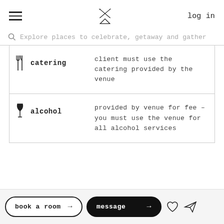log in
Explore places to celebrate, getaway and gather
catering – client must use the catering provided by the venue
alcohol – provided by venue for fee – you must use the venue for all alcohol services
book a room →
message →